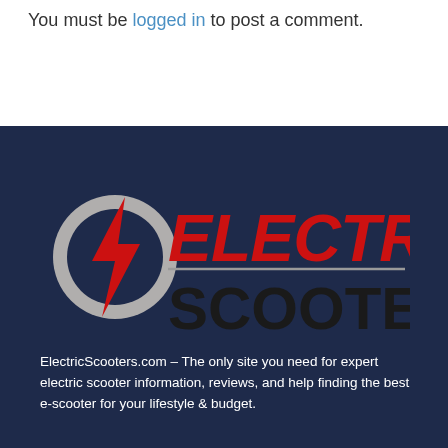You must be logged in to post a comment.
[Figure (logo): ElectricScooters.com logo: a gray circle with a red lightning bolt, next to red bold text 'ELECTRIC' and black bold text 'SCOOTERS', on a dark navy background]
ElectricScooters.com – The only site you need for expert electric scooter information, reviews, and help finding the best e-scooter for your lifestyle & budget.